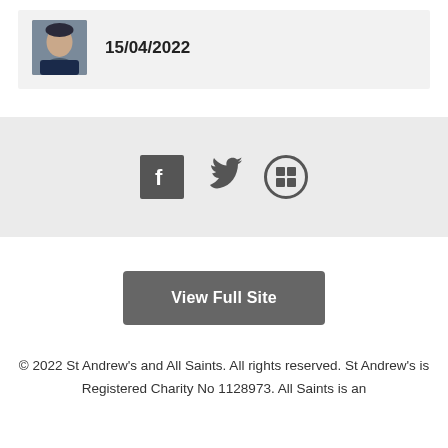[Figure (photo): Small avatar photo of a person, alongside a date]
15/04/2022
[Figure (infographic): Social media icons: Facebook, Twitter, and a grid/newsletter icon]
View Full Site
© 2022 St Andrew's and All Saints. All rights reserved. St Andrew's is Registered Charity No 1128973. All Saints is an